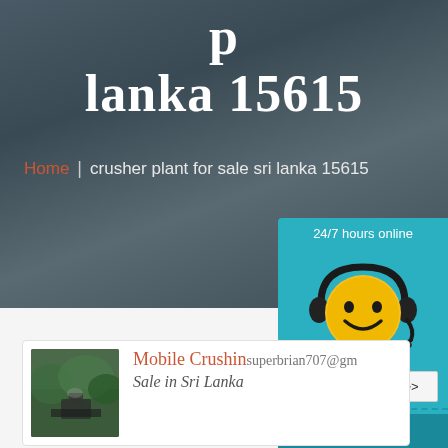lanka 15615
Home | crusher plant for sale sri lanka 15615
[Figure (illustration): Yellow smiley face with black headset/headphones, 3D style, on teal background with '24/7 hours online' text and 'Click me to chat >>' button and 'Enquiry' section below]
[Figure (photo): Green foliage and machinery photo thumbnail for Mobile Crushing Plant for Sale in Sri Lanka article]
Mobile Crushing superbrian707@gm Sale in Sri Lanka